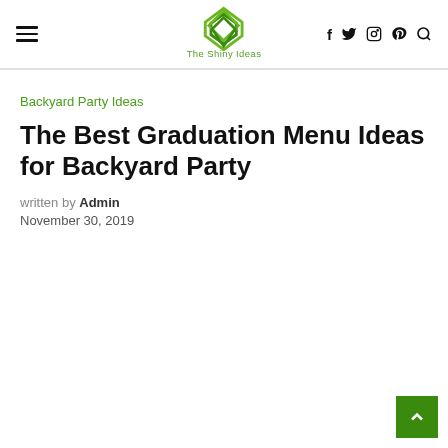The Shiny Ideas — navigation header with hamburger menu, logo, social icons (f, twitter, instagram, pinterest, search)
Backyard Party Ideas
The Best Graduation Menu Ideas for Backyard Party
written by Admin
November 30, 2019